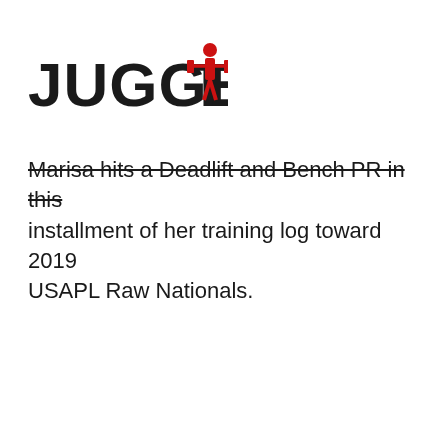[Figure (logo): Juggernaut logo with bold black text 'JUGGERNAUT' and a red powerlifter figure holding a barbell]
Marisa hits a Deadlift and Bench PR in this installment of her training log toward 2019 USAPL Raw Nationals.